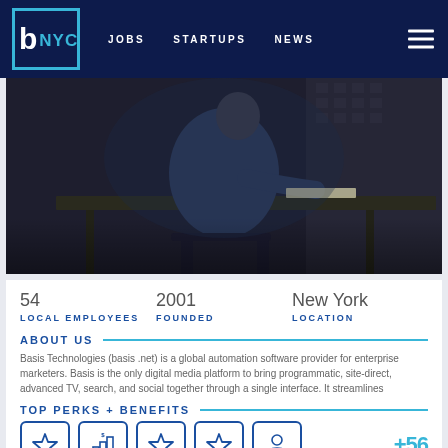b NYC  JOBS  STARTUPS  NEWS
[Figure (photo): Person sitting at a dark desk working, viewed from behind, moody dark office environment]
| 54 | 2001 | New York |
| LOCAL EMPLOYEES | FOUNDED | LOCATION |
ABOUT US
Basis Technologies (basis .net) is a global automation software provider for enterprise marketers. Basis is the only digital media platform to bring programmatic, site-direct, advanced TV, search, and social together through a single interface. It streamlines disconnected operations, automates and reduces manual steps, and consolidates tools and
TOP PERKS + BENEFITS
[Figure (infographic): Five perk/benefit icons in rounded square boxes: star, bar chart with dollar sign, star, star, person at desk. Followed by +56 in blue.]